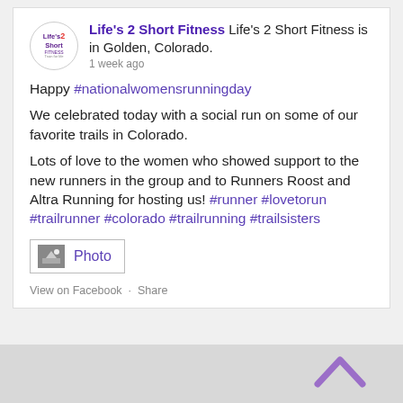Life's 2 Short Fitness Life's 2 Short Fitness is in Golden, Colorado. · 1 week ago
Happy #nationalwomensrunningday
We celebrated today with a social run on some of our favorite trails in Colorado.
Lots of love to the women who showed support to the new runners in the group and to Runners Roost and Altra Running for hosting us! #runner #lovetorun #trailrunner #colorado #trailrunning #trailsisters
[Figure (other): Photo thumbnail icon button]
View on Facebook · Share